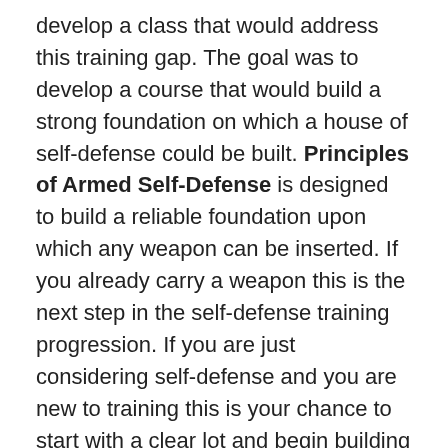develop a class that would address this training gap. The goal was to develop a course that would build a strong foundation on which a house of self-defense could be built. Principles of Armed Self-Defense is designed to build a reliable foundation upon which any weapon can be inserted. If you already carry a weapon this is the next step in the self-defense training progression. If you are just considering self-defense and you are new to training this is your chance to start with a clear lot and begin building good habits. While the course is primarily designed around the use of a firearm the principals are meant to translate to other self-defense weapons. Whether you carry pepper spray or a knife, or simply need to rely upon your hands & feet this course is meant for you.